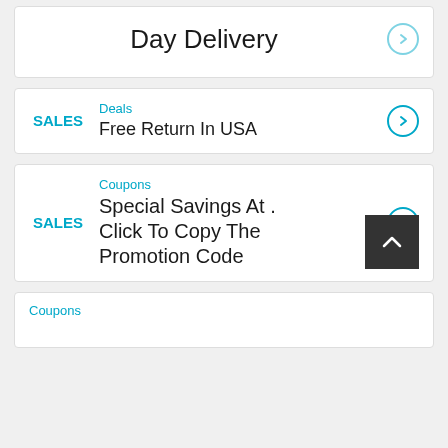Day Delivery
Deals
Free Return In USA
Coupons
Special Savings At . Click To Copy The Promotion Code
Coupons